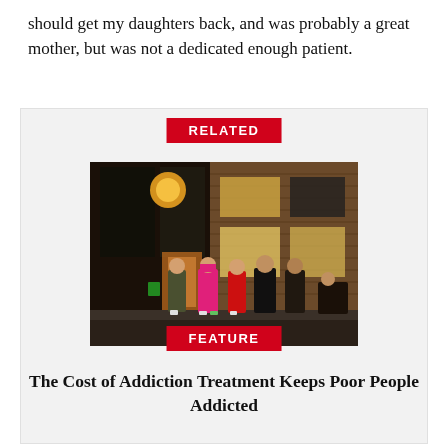should get my daughters back, and was probably a great mother, but was not a dedicated enough patient.
[Figure (photo): People standing outside a brick building, lined up along a wall. One person wears a bright pink hoodie, another a red hoodie. There is a glowing light above a door. The scene appears to be outside a treatment or social services facility.]
RELATED
FEATURE
The Cost of Addiction Treatment Keeps Poor People Addicted